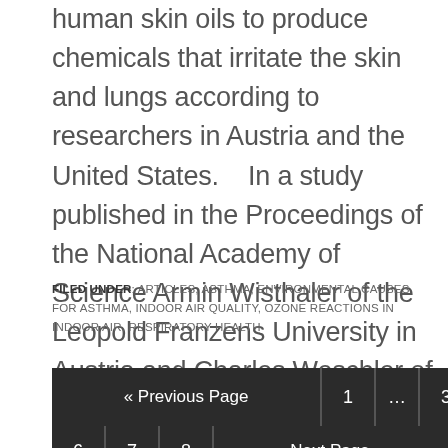human skin oils to produce chemicals that irritate the skin and lungs according to researchers in Austria and the United States.   In a study published in the Proceedings of the National Academy of Science Armin Wisthaler of the Leopold Franzens University in Austria and Charles Weschler of Rutgers University ... MORE
FILED UNDER: ARTICLES, ASTHMA, ENVIRONMENTAL CAUSES FOR ASTHMA, INDOOR AIR QUALITY, OZONE REACTIONS IN INDOOR AIR, RESPIRATORY HEALTH
« Previous Page  1  ...  3  4  6  7  8  Next Page »